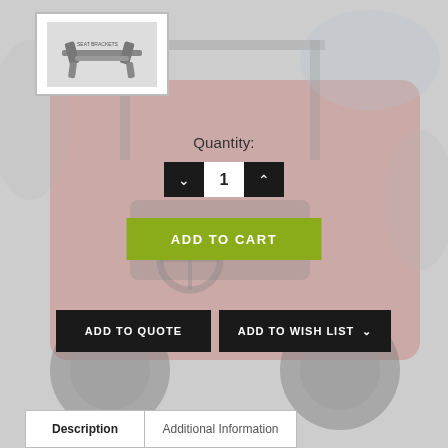[Figure (photo): Product thumbnail showing a metal seat bracket/mount for off-road vehicle, displayed in a white bordered box on top left.]
[Figure (photo): Background photo of a red off-road vehicle/UTV with large tires, seen from driver area, faded/muted with gray overlay.]
Quantity:
1
ADD TO CART
ADD TO QUOTE
ADD TO WISH LIST
| Description | Additional Information |
| --- | --- |